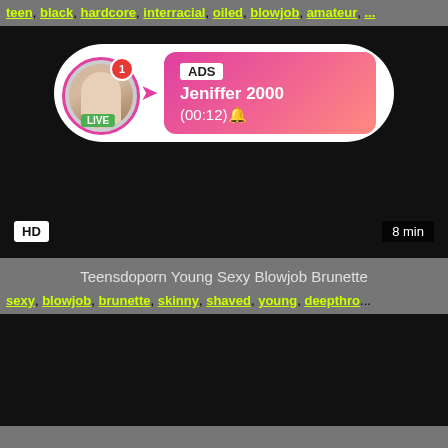teen, black, hardcore, interracial, oiled, blowjob, amateur, ...
[Figure (screenshot): Video thumbnail showing black screen with ad overlay featuring a live user named Jeniffer 2000 with HD badge and 8 min duration label]
Teensdoporn Young Sexy Blowjob Brunette
sexy, blowjob, brunette, skinny, shaved, young, deepthro...
[Figure (screenshot): Second video thumbnail, black screen]